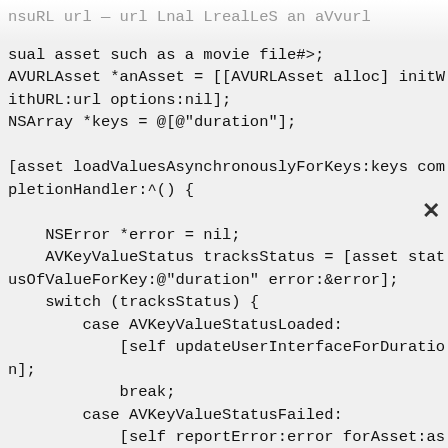[Figure (screenshot): Code snippet showing Objective-C code with AVURLAsset initialization, loadValuesAsynchronouslyForKeys, AVKeyValueStatus switch statement with cases for StatusLoaded (calling updateUserInterfaceForDuration) and StatusFailed (calling reportError:forAsset), with a close (X) button in the top right corner.]